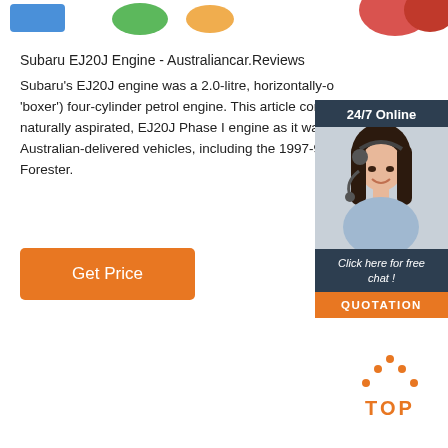[Figure (illustration): Partial colored shapes/logos at top of page (blue, green, orange, red partial circles/rectangles)]
Subaru EJ20J Engine - Australiancar.Reviews
Subaru's EJ20J engine was a 2.0-litre, horizontally-opposed (or 'boxer') four-cylinder petrol engine. This article considers the naturally aspirated, EJ20J Phase I engine as it was Australian-delivered vehicles, including the 1997-98 Forester.
[Figure (photo): Advertisement banner: '24/7 Online' header with photo of smiling woman with headset, 'Click here for free chat!' text, and orange QUOTATION button]
[Figure (other): Get Price orange button]
[Figure (logo): Orange dotted triangle logo above the text TOP in orange bold letters]